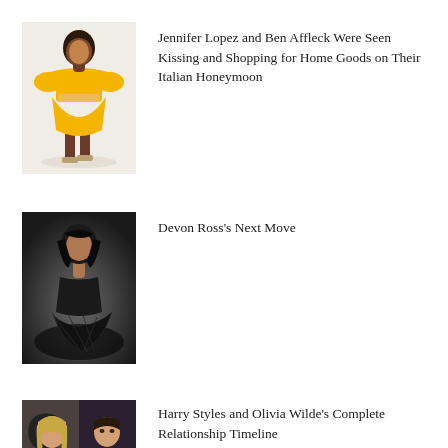[Figure (photo): Fashion photo of a woman wearing a yellow off-shoulder dress with cutout waist, posing on a light background]
Jennifer Lopez and Ben Affleck Were Seen Kissing and Shopping for Home Goods on Their Italian Honeymoon
[Figure (photo): Black and white fashion photo of a woman in a black mesh/fishnet bodysuit, seated pose against a dark background]
Devon Ross's Next Move
[Figure (photo): Two side-by-side celebrity photos: Olivia Wilde on the left and Harry Styles on the right]
Harry Styles and Olivia Wilde's Complete Relationship Timeline